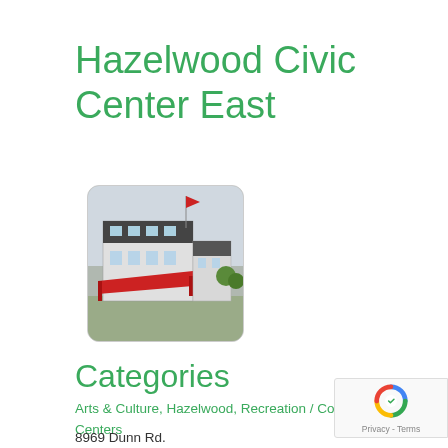Hazelwood Civic Center East
[Figure (photo): Exterior photo of Hazelwood Civic Center East building with a red awning/canopy structure in front, rounded corners border]
Categories
Arts & Culture, Hazelwood, Recreation / Community Centers
8969 Dunn Rd.
Hazelwood, 63042
(314) 839-5575
hazelwoodmo.org